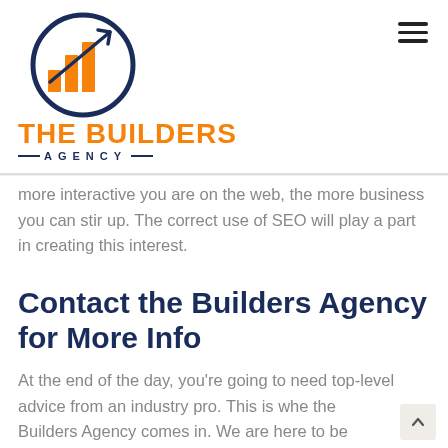[Figure (logo): The Builders Agency logo: circular icon with orange bar chart and arrow, dark navy circle outline, orange bold text 'THE BUILDERS' and navy spaced text 'AGENCY' with dashes]
more interactive you are on the web, the more business you can stir up. The correct use of SEO will play a part in creating this interest.
Contact the Builders Agency for More Info
At the end of the day, you're going to need top-level advice from an industry pro. This is whe the Builders Agency comes in. We are here to be